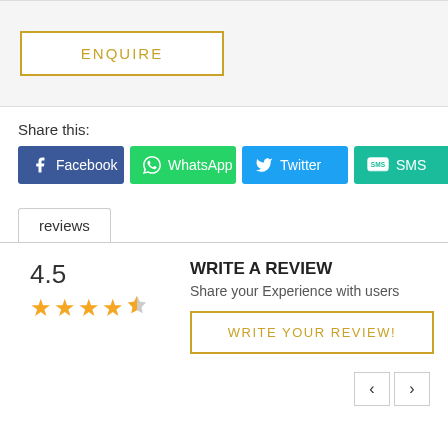[Figure (other): ENQUIRE button with gold/yellow border on light gray background]
Share this:
[Figure (infographic): Social share buttons: Facebook (blue), WhatsApp (green), Twitter (light blue), SMS (teal)]
reviews
4.5
[Figure (other): 4.5 star rating shown as 4 filled gold stars and 1 half star]
WRITE A REVIEW
Share your Experience with users
[Figure (other): WRITE YOUR REVIEW! button with gold border]